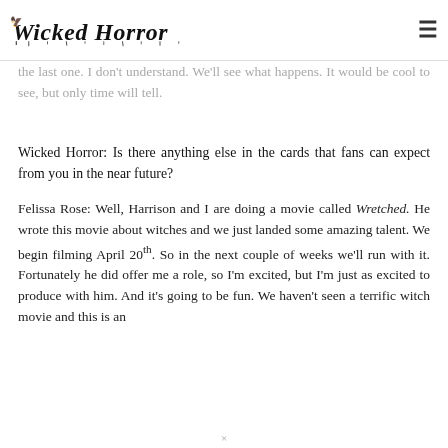mean? It's sort of the last to have no remake. He's sort of the last one. I don't understand. We'll see what happens. It would be cool to see, but only time will tell.
Wicked Horror
Wicked Horror: Is there anything else in the cards that fans can expect from you in the near future?
Felissa Rose: Well, Harrison and I are doing a movie called Wretched. He wrote this movie about witches and we just landed some amazing talent. We begin filming April 20th. So in the next couple of weeks we'll run with it. Fortunately he did offer me a role, so I'm excited, but I'm just as excited to produce with him. And it's going to be fun. We haven't seen a terrific witch movie and this is an